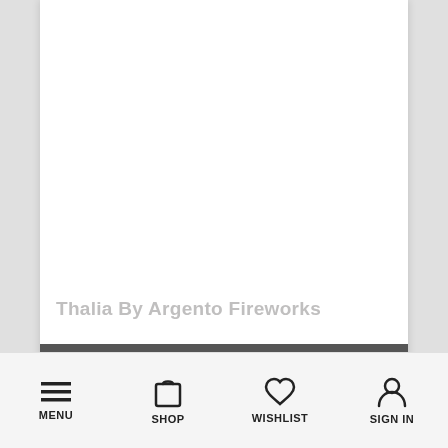[Figure (photo): Product image area for Thalia firework — white/blank area]
Thalia By Argento Fireworks
Your Price: £400.00
[Figure (other): Bottom navigation bar with Menu, Shop, Wishlist, Sign In icons]